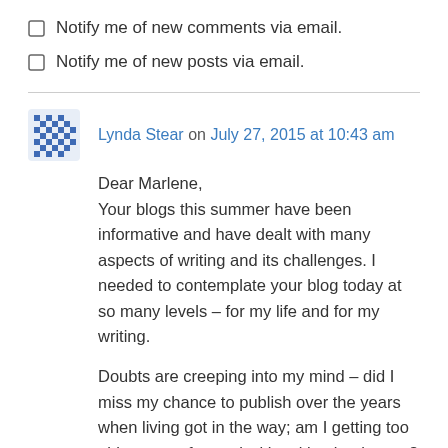Notify me of new comments via email.
Notify me of new posts via email.
Lynda Stear on July 27, 2015 at 10:43 am
Dear Marlene,
Your blogs this summer have been informative and have dealt with many aspects of writing and its challenges. I needed to contemplate your blog today at so many levels – for my life and for my writing.

Doubts are creeping into my mind – did I miss my chance to publish over the years when living got in the way; am I getting too old to move forward with writing books, etc?